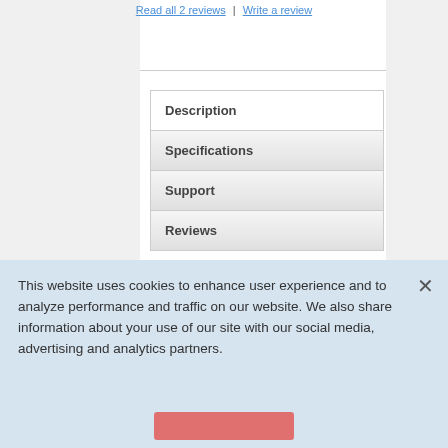Read all 2 reviews | Write a review
Description
Specifications
Support
Reviews
Features & Benefits
UNIQUE LOW
This website uses cookies to enhance user experience and to analyze performance and traffic on our website. We also share information about your use of our site with our social media, advertising and analytics partners.